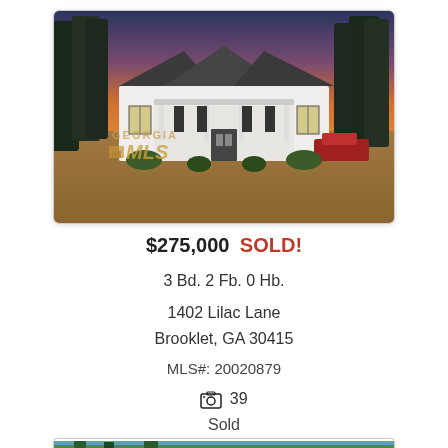[Figure (photo): Exterior photo of a white single-story ranch house at sunset with a large yard, tall pine trees, and Georgia MLS watermark. Shown inside a card with rounded border.]
$275,000 SOLD!
3 Bd. 2 Fb. 0 Hb.
1402 Lilac Lane
Brooklet, GA 30415
MLS#: 20020879
📷 39
Sold
[Figure (photo): Partially visible second property photo at the bottom of the page, showing trees and blue sky.]